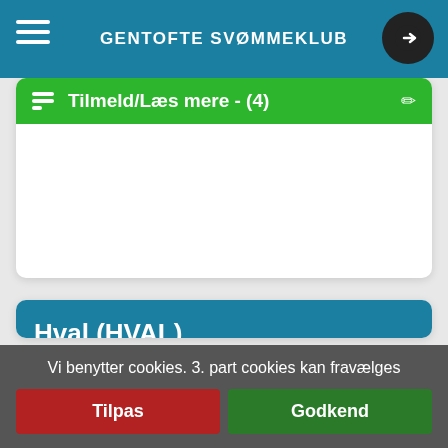GENTOFTE SVØMMEKLUB
Tilmeld/Læs mere - (4)
Hval (HVAL)
Vi benytter cookies. 3. part cookies kan fravælges
Tilpas
Godkend